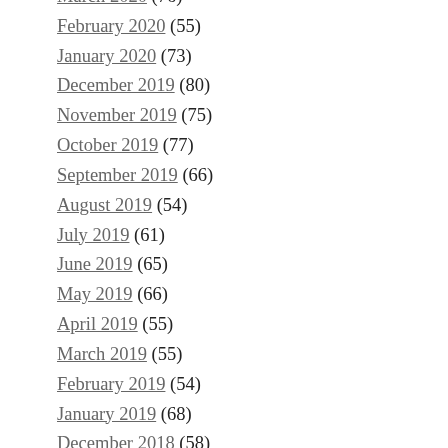March 2020 (76)
February 2020 (55)
January 2020 (73)
December 2019 (80)
November 2019 (75)
October 2019 (77)
September 2019 (66)
August 2019 (54)
July 2019 (61)
June 2019 (65)
May 2019 (66)
April 2019 (55)
March 2019 (55)
February 2019 (54)
January 2019 (68)
December 2018 (58)
November 2018 (59)
October 2018 (68)
September 2018 (57)